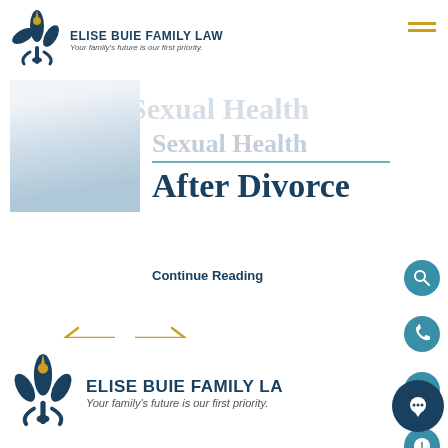ELISE BUIE FAMILY LAW — Your family's future is our first priority.
What You Need to Know About Sexual Health After Divorce
[Figure (photo): Photo of a person, partially cropped, light background]
Continue Reading
[Figure (other): Navigation arrows left and right]
[Figure (other): Right sidebar icons: search, phone, email, alert]
ELISE BUIE FAMILY LA — Your family's future is our first priority.